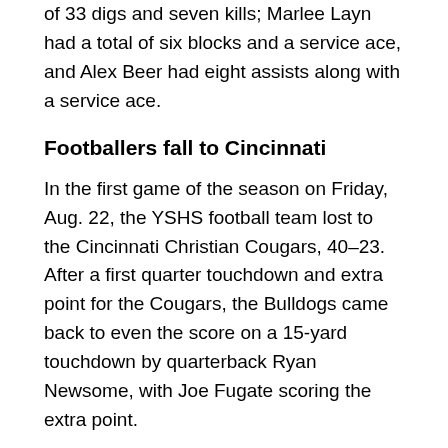of 33 digs and seven kills; Marlee Layn had a total of six blocks and a service ace, and Alex Beer had eight assists along with a service ace.
Footballers fall to Cincinnati
In the first game of the season on Friday, Aug. 22, the YSHS football team lost to the Cincinnati Christian Cougars, 40–23. After a first quarter touchdown and extra point for the Cougars, the Bulldogs came back to even the score on a 15-yard touchdown by quarterback Ryan Newsome, with Joe Fugate scoring the extra point.
Despite a second quarter gain by the Cougars for a half-time score of 21–7, the Bulldogs scored a second touchdown by Raphael Allen on a 80-yard kick return, followed by his two point conversion. The Bulldogs scored their last touchdown on an 85-yard run by Newsome and another conversion by Allen.